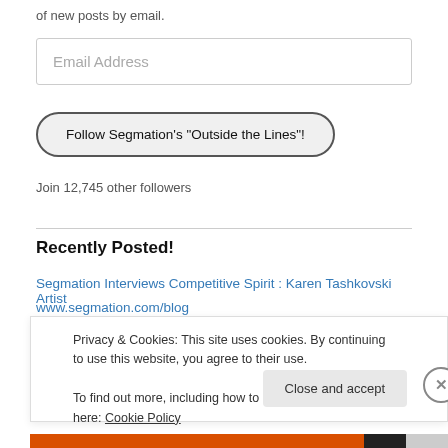of new posts by email.
Email Address
Follow Segmation's "Outside the Lines"!
Join 12,745 other followers
Recently Posted!
Segmation Interviews Competitive Spirit : Karen Tashkovski Artist
www.segmation.com/blog
Privacy & Cookies: This site uses cookies. By continuing to use this website, you agree to their use.
To find out more, including how to control cookies, see here: Cookie Policy
Close and accept